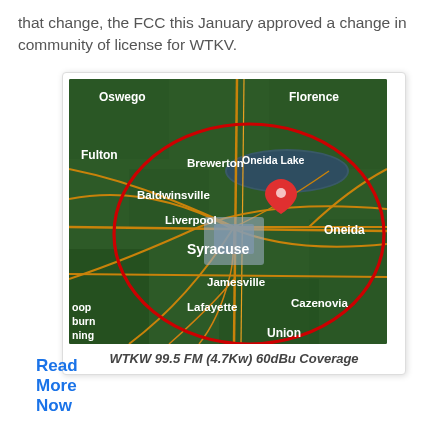that change, the FCC this January approved a change in community of license for WTKV.
[Figure (map): Satellite map of the Syracuse, NY area showing WTKW 99.5 FM 60dBu coverage area outlined in red. Map shows locations including Oswego, Florence, Fulton, Brewerton, Oneida Lake, Baldwinsville, Liverpool, Syracuse, Oneida, Jamesville, Lafayette, Cazenovia, Union. A red pin marker is placed near Oneida Lake. Roads shown in orange/yellow lines.]
WTKW 99.5 FM (4.7Kw) 60dBu Coverage
Read More Now